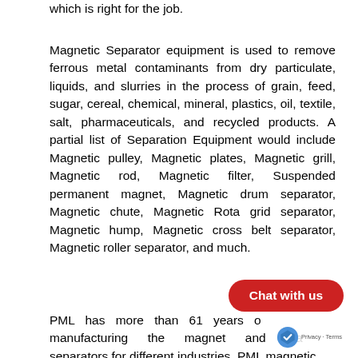which is right for the job.
Magnetic Separator equipment is used to remove ferrous metal contaminants from dry particulate, liquids, and slurries in the process of grain, feed, sugar, cereal, chemical, mineral, plastics, oil, textile, salt, pharmaceuticals, and recycled products. A partial list of Separation Equipment would include Magnetic pulley, Magnetic plates, Magnetic grill, Magnetic rod, Magnetic filter, Suspended permanent magnet, Magnetic drum separator, Magnetic chute, Magnetic Rota grid separator, Magnetic hump, Magnetic cross belt separator, Magnetic roller separator, and much.
PML has more than 61 years o... manufacturing the magnet and ma... separators for different industries. PML magnetic